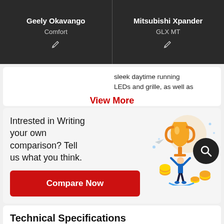Geely Okavango | Comfort    Mitsubishi Xpander | GLX MT
sleek daytime running LEDs and grille, as well as
View More
Intrested in Writing your own comparison? Tell us what you think.
Compare Now
[Figure (illustration): Illustration of a person raising arms in front of a large trophy cup with gold coins around it]
Technical Specifications
Dimensions & Capacity